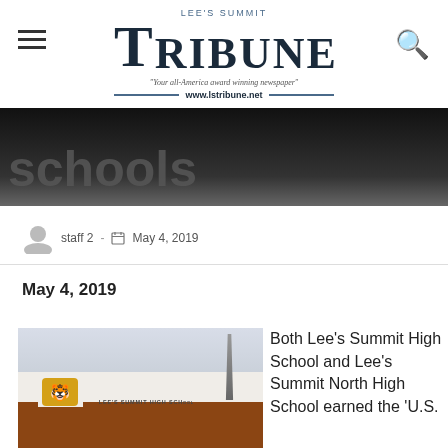[Figure (logo): Lee's Summit Tribune newspaper logo with tagline and website URL www.lstribune.net]
[Figure (photo): Dark banner with partial text 'schools' visible]
staff2 - May 4, 2019
May 4, 2019
[Figure (photo): Lee's Summit High School building exterior with tiger mascot logo and school sign]
Both Lee's Summit High School and Lee's Summit North High School earned the 'U.S.